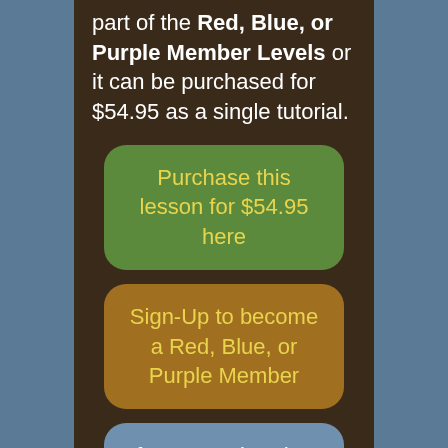part of the Red, Blue, or Purple Member Levels or it can be purchased for $54.95 as a single tutorial.
Purchase this lesson for $54.95 here
Sign-Up to become a Red, Blue, or Purple Member
If you are already a Red, Blue, or Purple Member, Click Here to Access